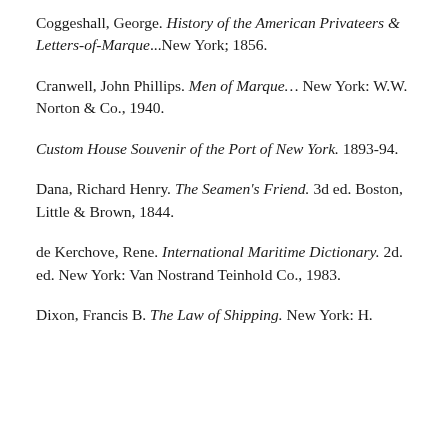Coggeshall, George. History of the American Privateers & Letters-of-Marque...New York; 1856.
Cranwell, John Phillips. Men of Marque… New York: W.W. Norton & Co., 1940.
Custom House Souvenir of the Port of New York. 1893-94.
Dana, Richard Henry. The Seamen's Friend. 3d ed. Boston, Little & Brown, 1844.
de Kerchove, Rene. International Maritime Dictionary. 2d. ed. New York: Van Nostrand Teinhold Co., 1983.
Dixon, Francis B. The Law of Shipping. New York: H.